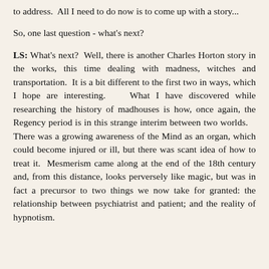to address.  All I need to do now is to come up with a story...
So, one last question - what's next?
LS: What's next?  Well, there is another Charles Horton story in the works, this time dealing with madness, witches and transportation.  It is a bit different to the first two in ways, which I hope are interesting.  What I have discovered while researching the history of madhouses is how, once again, the Regency period is in this strange interim between two worlds.  There was a growing awareness of the Mind as an organ, which could become injured or ill, but there was scant idea of how to treat it.  Mesmerism came along at the end of the 18th century and, from this distance, looks perversely like magic, but was in fact a precursor to two things we now take for granted: the relationship between psychiatrist and patient; and the reality of hypnotism.